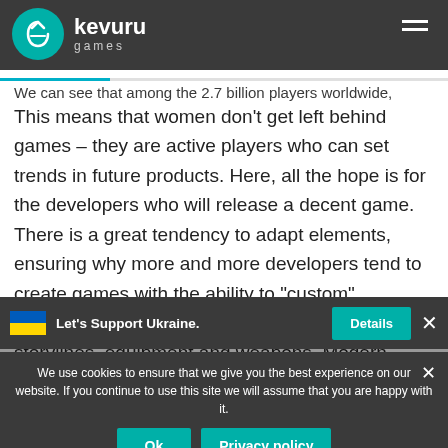Kevuru Games header with logo and navigation
United States, here the revenue from games reaches a 30 billion...
We can see that among the 2.7 billion players worldwide,
This means that women don’t get left behind games – they are active players who can set trends in future products. Here, all the hope is for the developers who will release a decent game. There is a great tendency to adapt elements, ensuring why more and more developers tend to create games with the ability to “custom” characters to ensure the best experience, storylines, equipment and weapons. Modern game content is gradually being filled with everything necessary for a girl to play serious male games. The salvation of the world,
Let’s Support Ukraine.
We use cookies to ensure that we give you the best experience on our website. If you continue to use this site we will assume that you are happy with it.